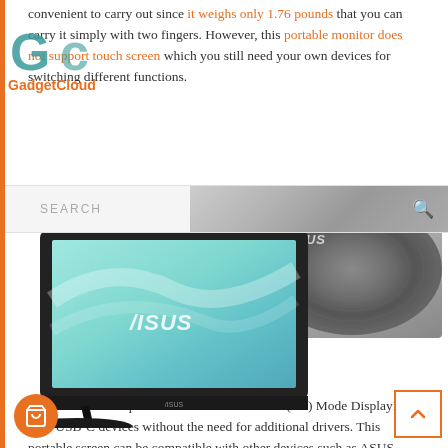convenient to carry out since it weighs only 1.76 pounds that you can carry it simply with two fingers. However, this portable monitor does not support touch screen which you still need your own devices for switching different functions.
[Figure (logo): GadgetCloud logo with stylized G and C letters in teal/blue, with text GadgetCloud below]
[Figure (screenshot): Search bar UI element with SEARCH text and magnifying glass icon on gray background]
[Figure (photo): ASUS portable monitor MB169C+ shown from front (screen with teal gradient and ASUS logo, resting on black kickstand/case) and back (dark gray brushed metal circular pattern with ASUS logo)]
This screen is compatible with all DP Alternate (Alt) Mode DisplayPort over USB-C devices without the need for additional drivers. This portable screen can be compatible with other devices such as ASUS Notebook (G752 and